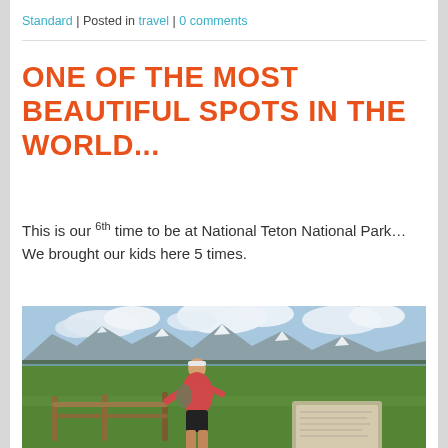Standard | Posted in travel | 0 comments
ONE OF THE MOST BEAUTIFUL SPOTS IN THE WORLD...
This is our 6th time to be at National Teton National Park… We brought our kids here 5 times.
[Figure (photo): Woman in pink shirt and white visor standing at a wooden fence railing overlooking a vast green meadow with a river and the Grand Teton mountain range in the background under a partly cloudy sky.]